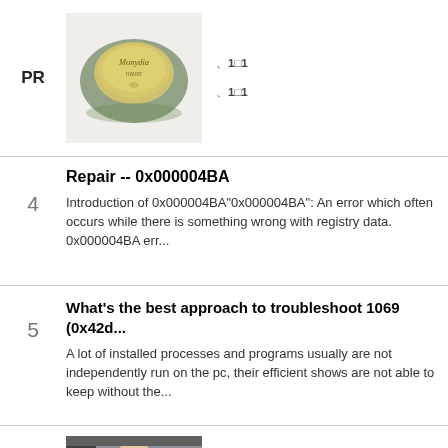PR
[Figure (photo): Round soap/cosmetic product on green leaf]
、1×1            
、1×1         
Repair -- 0x000004BA
Introduction of 0x000004BA"0x000004BA": An error which often occurs while there is something wrong with registry data. 0x000004BA err...
What's the best approach to troubleshoot 1069 (0x42d...
A lot of installed processes and programs usually are not independently run on the pc, their efficient shows are not able to keep without the...
PR
[Figure (photo): Woman holding a cosmetic tube/product]
、0、0、0、0、0、0、0、0、0、0、0、0、0、0、0、0、0
40、5、0                       
[Figure (photo): Woman portrait photo (bottom left)]
[Figure (photo): Japanese currency/money (bottom right)]